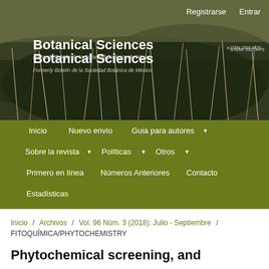[Figure (screenshot): Header banner of Botanical Sciences journal website with nature/grass background photo, showing 'Registrarse' and 'Entrar' links at top right, journal title 'Botanical Sciences', subtitle 'Formerly Boletín de la Sociedad Botánica de México', and e-ISSN number]
Registrarse   Entrar
Botanical Sciences
Formerly Boletín de la Sociedad Botánica de México
e-ISSN: 2007-4476
Inicio  Nuevo envío  Guia para autores ▼
Sobre la revista ▼  Políticas ▼  Otros ▼
Primero en línea  Números Anteriores  Contacto
Estadísticas
Buscar
Inicio / Archivos / Vol. 96 Núm. 3 (2018): Julio - Septiembre / FITOQUÍMICA/PHYTOCHEMISTRY
Phytochemical screening, and